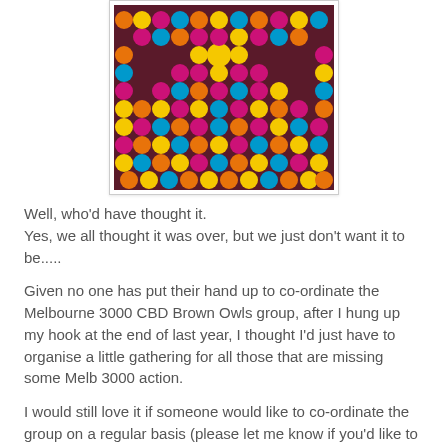[Figure (photo): Close-up photo of a colorful crochet granny square blanket with concentric rings of hot pink, yellow, orange, teal/blue, and dark maroon yarn in a traditional granny square pattern.]
Well, who'd have thought it.
Yes, we all thought it was over, but we just don't want it to be.....
Given no one has put their hand up to co-ordinate the Melbourne 3000 CBD Brown Owls group, after I hung up my hook at the end of last year, I thought I'd just have to organise a little gathering for all those that are missing some Melb 3000 action.
I would still love it if someone would like to co-ordinate the group on a regular basis (please let me know if you'd like to